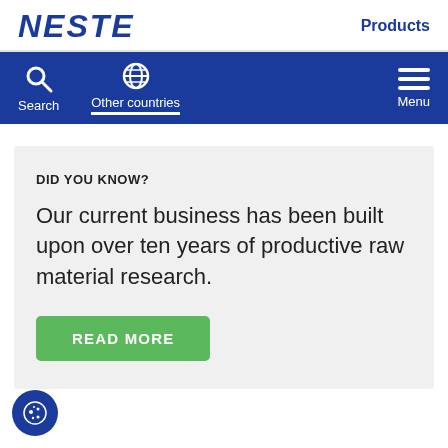NESTE | Products
[Figure (screenshot): Neste website navigation bar with Search, Other countries, and Menu icons on dark blue background]
DID YOU KNOW?
Our current business has been built upon over ten years of productive raw material research.
READ MORE